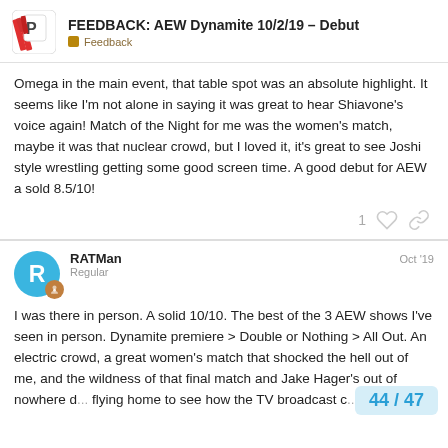FEEDBACK: AEW Dynamite 10/2/19 – Debut | Feedback
Omega in the main event, that table spot was an absolute highlight. It seems like I'm not alone in saying it was great to hear Shiavone's voice again! Match of the Night for me was the women's match, maybe it was that nuclear crowd, but I loved it, it's great to see Joshi style wrestling getting some good screen time. A good debut for AEW a sold 8.5/10!
RATMan — Regular — Oct '19
I was there in person. A solid 10/10. The best of the 3 AEW shows I've seen in person. Dynamite premiere > Double or Nothing > All Out. An electric crowd, a great women's match that shocked the hell out of me, and the wildness of that final match and Jake Hager's out of nowhere d... flying home to see how the TV broadcast c...
44 / 47